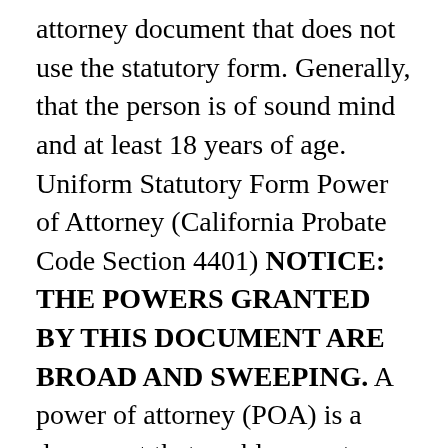attorney document that does not use the statutory form. Generally, that the person is of sound mind and at least 18 years of age. Uniform Statutory Form Power of Attorney (California Probate Code Section 4401) NOTICE: THE POWERS GRANTED BY THIS DOCUMENT ARE BROAD AND SWEEPING. A power of attorney (POA) is a document that enables you to assign authority to another to act on your behalf. PROBATE CODE SECTION 4150-4155 4150. Read this complete California Code, Probate Code - PROB § 4307 on Westlaw FindLaw Codes are provided courtesy of Thomson Reuters Westlaw, the industry-leading online legal research system. THE POWERS YOU GRANT BELOW ARE EFFECTIVE